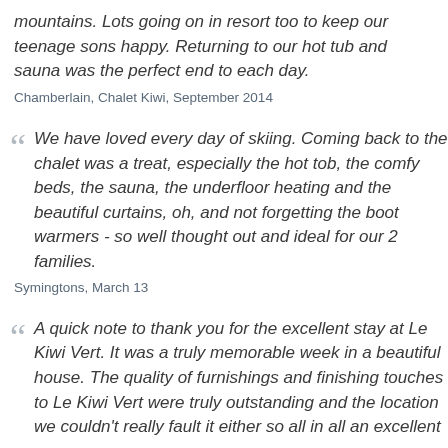mountains. Lots going on in resort too to keep our teenage sons happy. Returning to our hot tub and sauna was the perfect end to each day.
Chamberlain, Chalet Kiwi, September 2014
We have loved every day of skiing. Coming back to the chalet was a treat, especially the hot tob, the comfy beds, the sauna, the underfloor heating and the beautiful curtains, oh, and not forgetting the boot warmers - so well thought out and ideal for our 2 families.
Symingtons, March 13
A quick note to thank you for the excellent stay at Le Kiwi Vert. It was a truly memorable week in a beautiful house. The quality of furnishings and finishing touches to Le Kiwi Vert were truly outstanding and the location we couldn't really fault it either so all in all an excellent